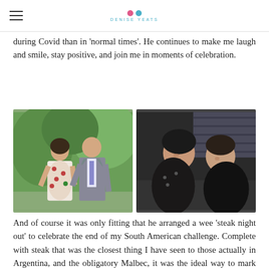DENISE YEATS
during Covid than in 'normal times'. He continues to make me laugh and smile, stay positive, and join me in moments of celebration.
[Figure (photo): Two side-by-side photos: left shows a woman in a patterned dress and a man in a grey suit outdoors with greenery; right shows a couple taking a selfie indoors, both in dark clothing.]
And of course it was only fitting that he arranged a wee 'steak night out' to celebrate the end of my South American challenge. Complete with steak that was the closest thing I have seen to those actually in Argentina, and the obligatory Malbec, it was the ideal way to mark the end of this year.